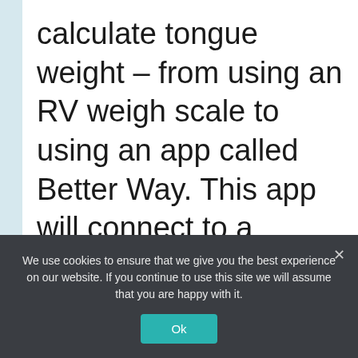calculate tongue weight – from using an RV weigh scale to using an app called Better Way. This app will connect to a device that you plug into your tow vehicle OBD connection. The directions on the app will guide you in obtaining your vehicle's
We use cookies to ensure that we give you the best experience on our website. If you continue to use this site we will assume that you are happy with it.
Ok